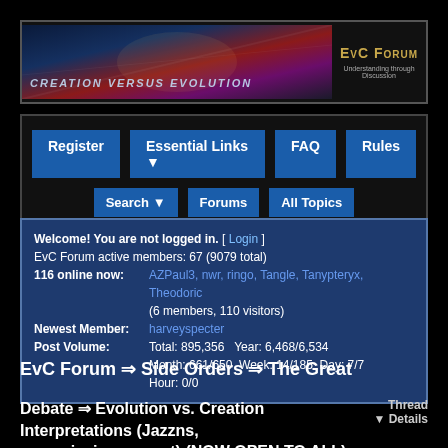[Figure (illustration): EvC Forum banner with 'Creation Versus Evolution' text on left and 'EvC Forum / Understanding through Discussion' on right]
Register | Essential Links ▼ | FAQ | Rules | Search ▼ | Forums | All Topics
Welcome! You are not logged in. [ Login ]
EvC Forum active members: 67 (9079 total)
116 online now: AZPaul3, nwr, ringo, Tangle, Tanypteryx, Theodoric (6 members, 110 visitors)
Newest Member: harveyspecter
Post Volume: Total: 895,356   Year: 6,468/6,534  Month: 661/650   Week: 14/185   Day: 7/7  Hour: 0/0
EvC Forum ⇒ Side Orders ⇒ The Great
Debate ⇒ Evolution vs. Creation Interpretations (Jazzns, nemesis_juggernaut) (NOW OPEN TO ALL)
Thread Details